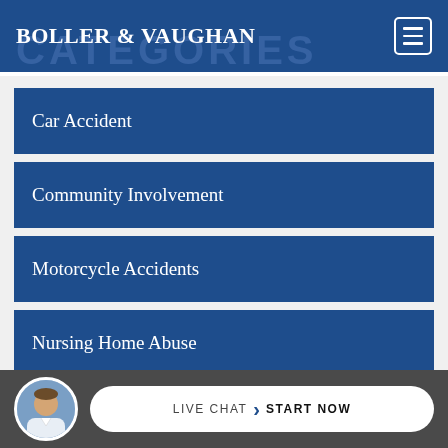BOLLER & VAUGHAN
Car Accident
Community Involvement
Motorcycle Accidents
Nursing Home Abuse
Personal Injury
LIVE CHAT  START NOW